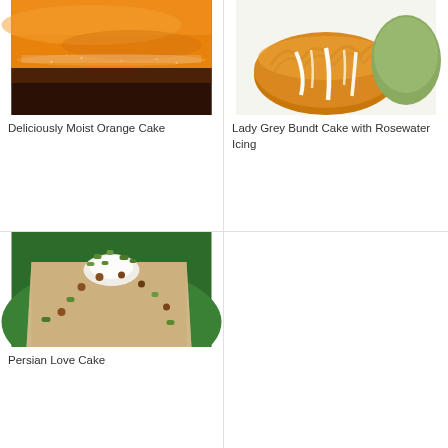[Figure (photo): Close-up photo of a moist orange cake with powdered sugar dusted on top, golden brown sponge visible]
Deliciously Moist Orange Cake
[Figure (photo): Lady Grey Bundt Cake with white rosewater icing drizzled over top, golden brown bundt cake shape]
Lady Grey Bundt Cake with Rosewater Icing
[Figure (photo): Persian Love Cake slice on a green plate, topped with cream and chopped pistachios and hazelnuts]
Persian Love Cake